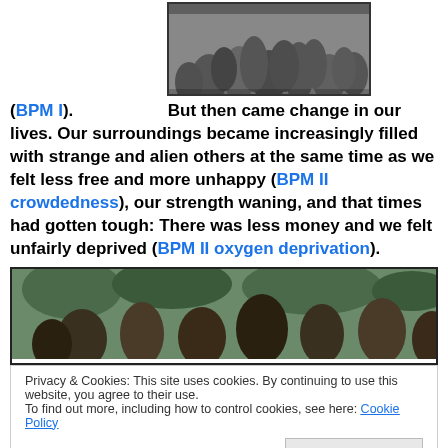[Figure (photo): Black and white photograph of a crowd of people seen from behind, wearing helmets or hats, densely packed.]
(BPM I). But then came change in our lives. Our surroundings became increasingly filled with strange and alien others at the same time as we felt less free and more unhappy (BPM II crowdedness), our strength waning, and that times had gotten tough: There was less money and we felt unfairly deprived (BPM II oxygen deprivation).
[Figure (photo): Color photograph of a large crowd of people standing outdoors with trees in the background.]
Privacy & Cookies: This site uses cookies. By continuing to use this website, you agree to their use.
To find out more, including how to control cookies, see here: Cookie Policy
[Figure (photo): Color photograph at the bottom of the page, partially visible, showing people outdoors.]